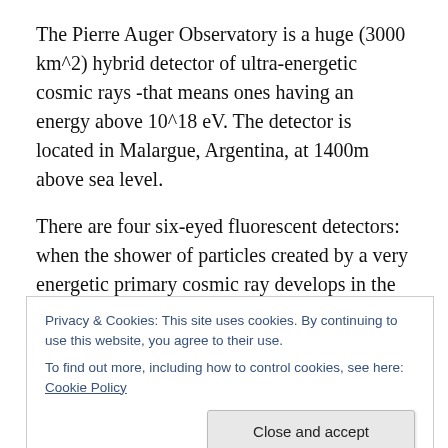The Pierre Auger Observatory is a huge (3000 km^2) hybrid detector of ultra-energetic cosmic rays -that means ones having an energy above 10^18 eV. The detector is located in Malargue, Argentina, at 1400m above sea level.
There are four six-eyed fluorescent detectors: when the shower of particles created by a very energetic primary cosmic ray develops in the atmosphere, it excites nitrogen atoms which emit energy in fluorescent light, collected in telescope. It is a calorimetric measurement of the shower, since the number of particles in the shower gives a
Privacy & Cookies: This site uses cookies. By continuing to use this website, you agree to their use.
To find out more, including how to control cookies, see here: Cookie Policy
Close and accept
because they can only observe in moonless nights. That